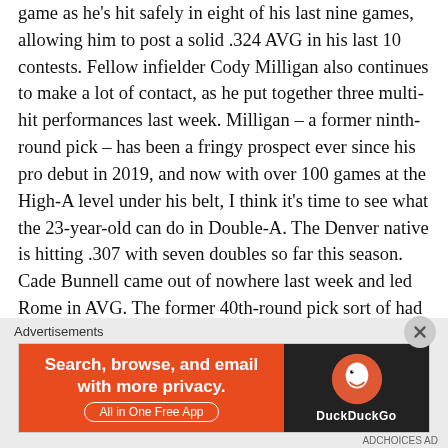game as he's hit safely in eight of his last nine games, allowing him to post a solid .324 AVG in his last 10 contests. Fellow infielder Cody Milligan also continues to make a lot of contact, as he put together three multi-hit performances last week. Milligan – a former ninth-round pick – has been a fringy prospect ever since his pro debut in 2019, and now with over 100 games at the High-A level under his belt, I think it's time to see what the 23-year-old can do in Double-A. The Denver native is hitting .307 with seven doubles so far this season. Cade Bunnell came out of nowhere last week and led Rome in AVG. The former 40th-round pick sort of had a break-out campaign last year when he slugged 17 home runs in Single-A. He strikes out too much and is a career .203 hitter in the minors, but he obviously has some power, so he'll enjoy the recent surge in
Advertisements
[Figure (other): DuckDuckGo advertisement banner: orange left panel with text 'Search, browse, and email with more privacy. All in One Free App'; dark right panel with DuckDuckGo logo and name.]